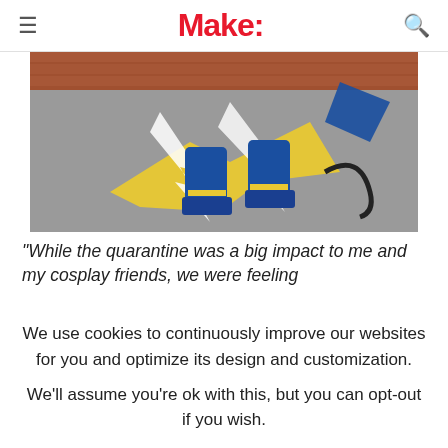Make:
[Figure (photo): Photo of cosplay character feet/boots standing on a yellow lightning bolt cutout on pavement, with white lightning effect graphic]
“While the quarantine was a big impact to me and my cosplay friends, we were feeling
We use cookies to continuously improve our websites for you and optimize its design and customization.
We’ll assume you’re ok with this, but you can opt-out if you wish.
CONFIGURE
ACCEPT